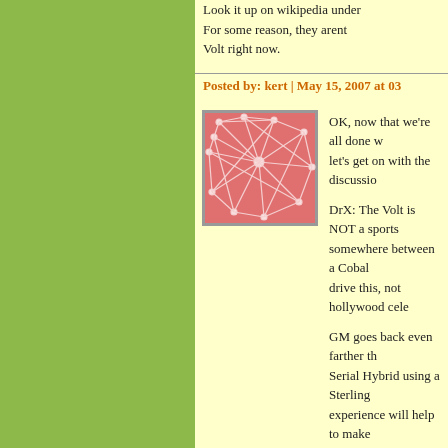Look it up on wikipedia under... For some reason, they arent... Volt right now.
Posted by: kert | May 15, 2007 at 03...
[Figure (illustration): Avatar image: pink/red abstract web/neural network pattern on pink background]
OK, now that we're all done w... let's get on with the discussio...
DrX: The Volt is NOT a sports... somewhere between a Cobal... drive this, not hollywood cele...
GM goes back even farther th... Serial Hybrid using a Sterling... experience will help to make ... of electrics and PHEVs all to...
The Volt will be a 2010 year m... the E85 ICE, it would help if a... help get a Cellulosic Ethanol... did have to run the ICE it wou...
Posted by: Sky King | May 15, 2007...